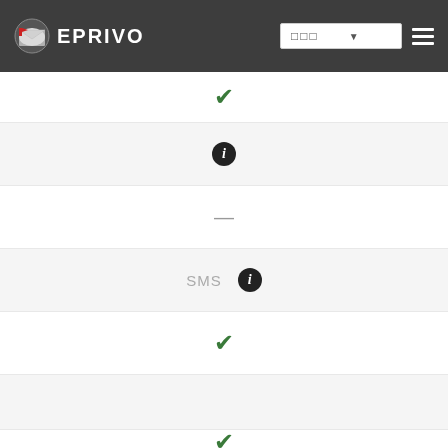[Figure (screenshot): EPRIVO website header with logo, language dropdown showing Japanese characters, and hamburger menu icon on dark gray background]
[Figure (screenshot): Web application feature comparison table rows showing green checkmarks, info icons, dash, SMS label with info icon, and more green checkmarks in alternating white and light gray rows]